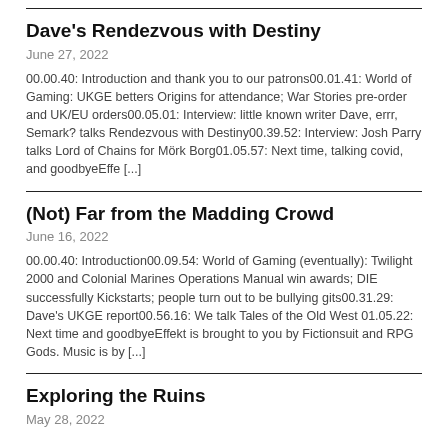Dave's Rendezvous with Destiny
June 27, 2022
00.00.40: Introduction and thank you to our patrons00.01.41: World of Gaming: UKGE betters Origins for attendance; War Stories pre-order and UK/EU orders00.05.01: Interview: little known writer Dave, errr, Semark? talks Rendezvous with Destiny00.39.52: Interview: Josh Parry talks Lord of Chains for Mörk Borg01.05.57: Next time, talking covid, and goodbyeEffe [...]
(Not) Far from the Madding Crowd
June 16, 2022
00.00.40: Introduction00.09.54: World of Gaming (eventually): Twilight 2000 and Colonial Marines Operations Manual win awards; DIE successfully Kickstarts; people turn out to be bullying gits00.31.29: Dave's UKGE report00.56.16: We talk Tales of the Old West 01.05.22: Next time and goodbyeEffekt is brought to you by Fictionsuit and RPG Gods. Music is by [...]
Exploring the Ruins
May 28, 2022